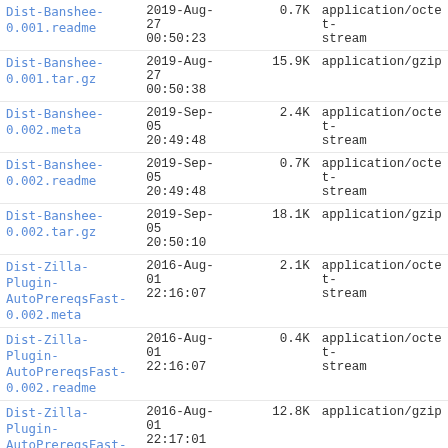| Name | Date | Size | Type |
| --- | --- | --- | --- |
| Dist-Banshee-0.001.readme | 2019-Aug-27 00:50:23 | 0.7K | application/octet-stream |
| Dist-Banshee-0.001.tar.gz | 2019-Aug-27 00:50:38 | 15.9K | application/gzip |
| Dist-Banshee-0.002.meta | 2019-Sep-05 20:49:48 | 2.4K | application/octet-stream |
| Dist-Banshee-0.002.readme | 2019-Sep-05 20:49:48 | 0.7K | application/octet-stream |
| Dist-Banshee-0.002.tar.gz | 2019-Sep-05 20:50:10 | 18.1K | application/gzip |
| Dist-Zilla-Plugin-AutoPrereqsFast-0.002.meta | 2016-Aug-01 22:16:07 | 2.1K | application/octet-stream |
| Dist-Zilla-Plugin-AutoPrereqsFast-0.002.readme | 2016-Aug-01 22:16:07 | 0.4K | application/octet-stream |
| Dist-Zilla-Plugin-AutoPrereqsFast-0.002.tar.gz | 2016-Aug-01 22:17:01 | 12.8K | application/gzip |
| Dist-Zilla-Plugin-AutoPrereqsFast-0.003.meta | 2016-Sep-20 23:16:40 | 2.3K | application/octet-stream |
| Dist-Zilla-Plugin- | 2016-Sep-20 | 0.4K | application/octet- |